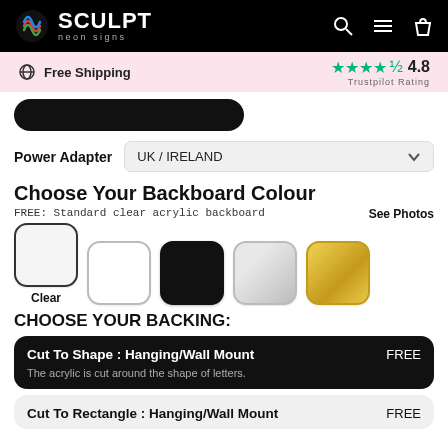SCULPT neon signs
Free Shipping   ★★★★½ 4.8 Trustpilot Rating
Power Adapter   UK / IRELAND
Choose Your Backboard Colour
FREE: Standard clear acrylic backboard
See Photos
Clear
CHOOSE YOUR BACKING:
Cut To Shape : Hanging/Wall Mount   FREE
The acrylic is cut around the shape of letters.
Cut To Rectangle : Hanging/Wall Mount   FREE